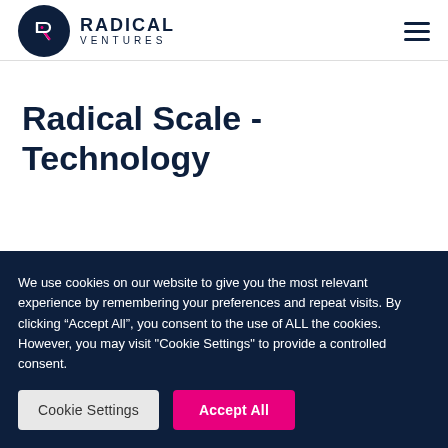Radical Ventures
Radical Scale - Technology
We use cookies on our website to give you the most relevant experience by remembering your preferences and repeat visits. By clicking “Accept All”, you consent to the use of ALL the cookies. However, you may visit "Cookie Settings" to provide a controlled consent.